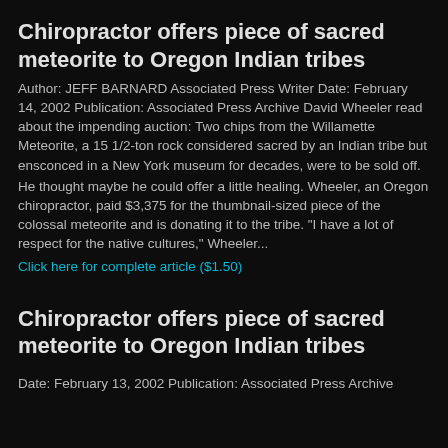Chiropractor offers piece of sacred meteorite to Oregon Indian tribes
Author: JEFF BARNARD Associated Press Writer Date: February 14, 2002 Publication: Associated Press Archive David Wheeler read about the impending auction: Two chips from the Willamette Meteorite, a 15 1/2-ton rock considered sacred by an Indian tribe but ensconced in a New York museum for decades, were to be sold off.
He thought maybe he could offer a little healing. Wheeler, an Oregon chiropractor, paid $3,375 for the thumbnail-sized piece of the colossal meteorite and is donating it to the tribe. "I have a lot of respect for the native cultures," Wheeler...
Click here for complete article ($1.50)
Chiropractor offers piece of sacred meteorite to Oregon Indian tribes
Date: February 13, 2002 Publication: Associated Press Archive